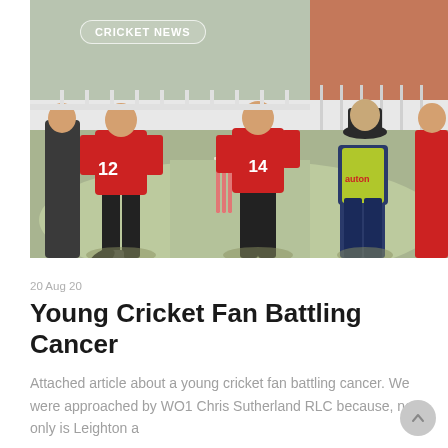[Figure (photo): Cricket match photo showing players in red jerseys (one with number 12) on a cricket ground with stumps visible, taken from behind. A badge tag overlay reads 'CRICKET NEWS'.]
CRICKET NEWS
20 Aug 20
Young Cricket Fan Battling Cancer
Attached article about a young cricket fan battling cancer. We were approached by WO1 Chris Sutherland RLC because, not only is Leighton a